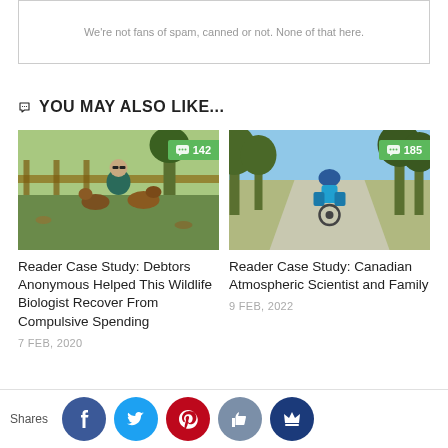We're not fans of spam, canned or not. None of that here.
YOU MAY ALSO LIKE...
[Figure (photo): Person crouching with two dogs outdoors near a wooden fence. Comment badge shows 142.]
Reader Case Study: Debtors Anonymous Helped This Wildlife Biologist Recover From Compulsive Spending
7 FEB, 2020
[Figure (photo): Child on bicycle from behind on a park path with trees. Comment badge shows 185.]
Reader Case Study: Canadian Atmospheric Scientist and Family
9 FEB, 2022
Shares